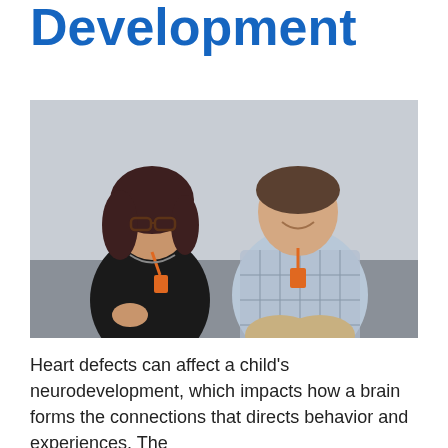Development
[Figure (photo): Two healthcare professionals, a woman on the left with dark hair and glasses wearing a black top with a badge/lanyard, and a man on the right in a plaid button-up shirt with a badge, both smiling and seated in an office/clinical setting.]
Heart defects can affect a child's neurodevelopment, which impacts how a brain forms the connections that directs behavior and experiences. The